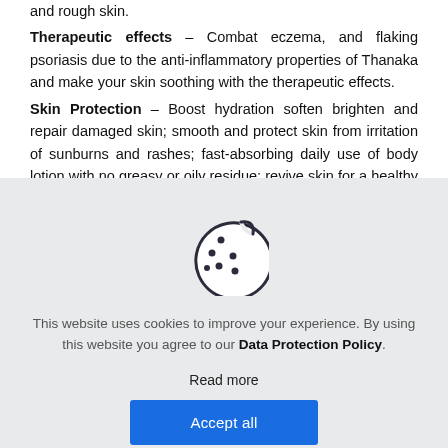and rough skin. Therapeutic effects – Combat eczema, and flaking psoriasis due to the anti-inflammatory properties of Thanaka and make your skin soothing with the therapeutic effects. Skin Protection – Boost hydration soften brighten and repair damaged skin; smooth and protect skin from irritation of sunburns and rashes; fast-absorbing daily use of body lotion with no greasy or oily residue; revive skin for a healthy vibrant glow; natural clean skincare
[Figure (illustration): Cookie icon — a circle with a bite taken out of the upper right, with small dots scattered inside representing chocolate chips]
This website uses cookies to improve your experience. By using this website you agree to our Data Protection Policy.
Read more
Accept all